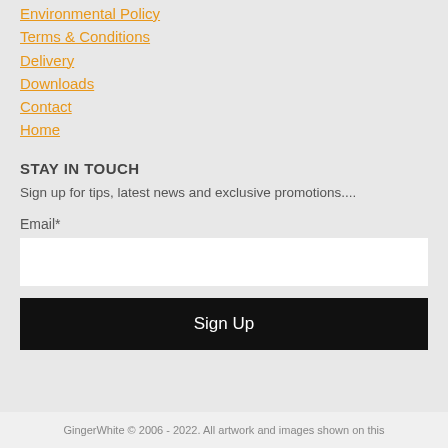Environmental Policy
Terms & Conditions
Delivery
Downloads
Contact
Home
STAY IN TOUCH
Sign up for tips, latest news and exclusive promotions....
Email*
Sign Up
GingerWhite © 2006 - 2022. All artwork and images shown on this